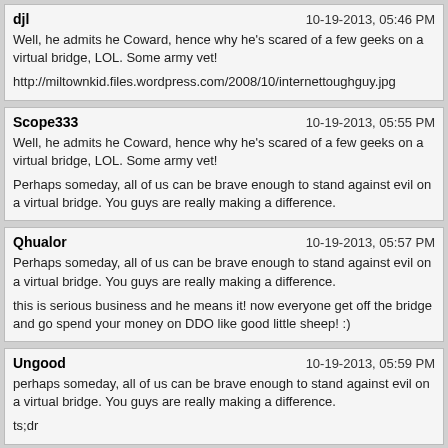djl | 10-19-2013, 05:46 PM
Well, he admits he Coward, hence why he's scared of a few geeks on a virtual bridge, LOL. Some army vet!
http://miltownkid.files.wordpress.com/2008/10/internettoughguy.jpg
Scope333 | 10-19-2013, 05:55 PM
Well, he admits he Coward, hence why he's scared of a few geeks on a virtual bridge, LOL. Some army vet!
Perhaps someday, all of us can be brave enough to stand against evil on a virtual bridge. You guys are really making a difference.
Qhualor | 10-19-2013, 05:57 PM
Perhaps someday, all of us can be brave enough to stand against evil on a virtual bridge. You guys are really making a difference.
this is serious business and he means it! now everyone get off the bridge and go spend your money on DDO like good little sheep! :)
Ungood | 10-19-2013, 05:59 PM
perhaps someday, all of us can be brave enough to stand against evil on a virtual bridge. You guys are really making a difference.
ts;dr
redspecter23 | 10-19-2013, 06:01 PM
I'm wondering how many images of this scene might get submitted for